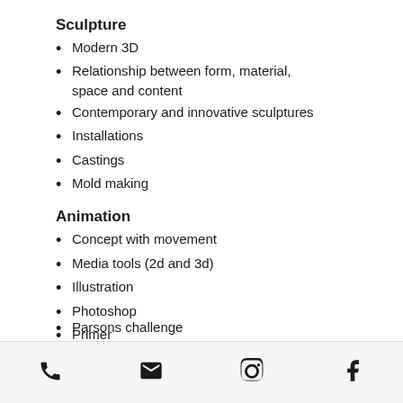Sculpture
Modern 3D
Relationship between form, material, space and content
Contemporary and innovative sculptures
Installations
Castings
Mold making
Animation
Concept with movement
Media tools (2d and 3d)
Illustration
Photoshop
Primer
I movie
Story
Comic
Conceptual Arts
Parsons challenge
Phone | Email | Instagram | Facebook